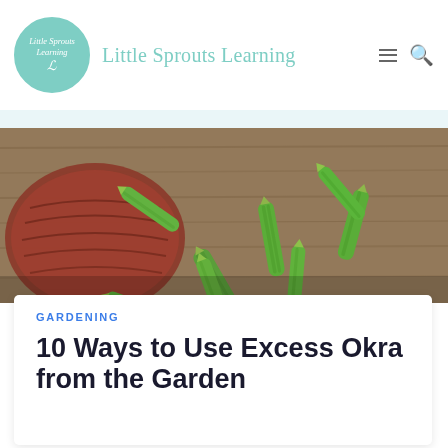Little Sprouts Learning
[Figure (photo): Close-up photo of fresh green okra pods spilling out of a wicker basket onto a wooden surface]
GARDENING
10 Ways to Use Excess Okra from the Garden